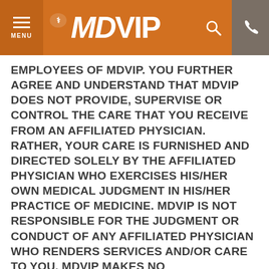MDVIP
EMPLOYEES OF MDVIP. YOU FURTHER AGREE AND UNDERSTAND THAT MDVIP DOES NOT PROVIDE, SUPERVISE OR CONTROL THE CARE THAT YOU RECEIVE FROM AN AFFILIATED PHYSICIAN. RATHER, YOUR CARE IS FURNISHED AND DIRECTED SOLELY BY THE AFFILIATED PHYSICIAN WHO EXERCISES HIS/HER OWN MEDICAL JUDGMENT IN HIS/HER PRACTICE OF MEDICINE. MDVIP IS NOT RESPONSIBLE FOR THE JUDGMENT OR CONDUCT OF ANY AFFILIATED PHYSICIAN WHO RENDERS SERVICES AND/OR CARE TO YOU. MDVIP MAKES NO REPRESENTATIONS OR WARRANTIES ABOUT THE QUALITY,